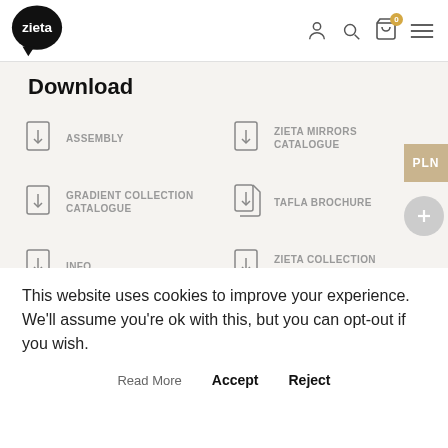Zieta logo and navigation icons
Download
ASSEMBLY
ZIETA MIRRORS CATALOGUE
GRADIENT COLLECTION CATALOGUE
TAFLA BROCHURE
INFO
ZIETA COLLECTION CATALOGUE
PHOTOS
PRODUCT CARD
This website uses cookies to improve your experience. We'll assume you're ok with this, but you can opt-out if you wish.
Read More   Accept   Reject